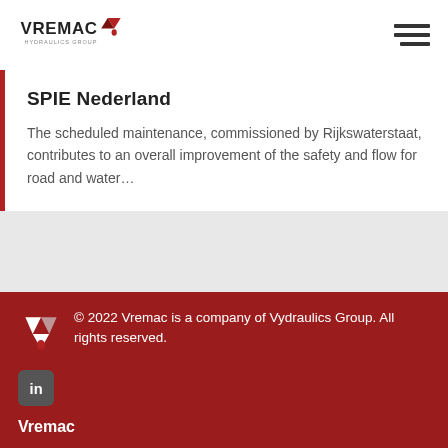[Figure (logo): Vremac Hydraulics Group logo with red downward arrow/V emblem and text VREMAC and HYDRAULICS GROUP]
SPIE Nederland
The scheduled maintenance, commissioned by Rijkswaterstaat, contributes to an overall improvement of the safety and flow for road and water…
© 2022 Vremac is a company of Vydraulics Group. All rights reserved.